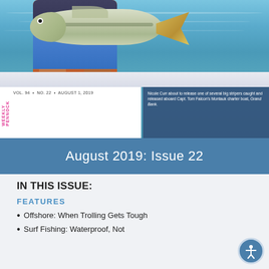[Figure (photo): Woman on a boat holding a large striped bass fish, with ocean water visible in the background. Overlays include a white box with volume/issue info and a weekly pennock label, and a dark blue box with a photo caption.]
Nicole Curr about to release one of several big stripers caught and released aboard Capt. Tom Falcon's Montauk charter boat, Grand Bank.
August 2019: Issue 22
IN THIS ISSUE:
FEATURES
Offshore: When Trolling Gets Tough
Surf Fishing: Waterproof, Not...